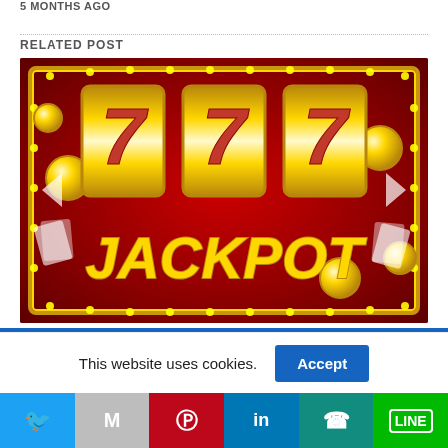5 MONTHS AGO
RELATED POST
[Figure (illustration): Casino slot machine showing 777 and JACKPOT text on red background with gold coins and decorative frame lights]
This website uses cookies.
Social share buttons: Twitter, Gmail, Pinterest, LinkedIn, WhatsApp, LINE